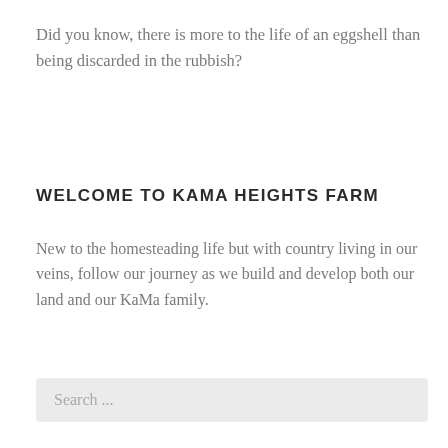Did you know, there is more to the life of an eggshell than being discarded in the rubbish?
WELCOME TO KAMA HEIGHTS FARM
New to the homesteading life but with country living in our veins, follow our journey as we build and develop both our land and our KaMa family.
Search ...